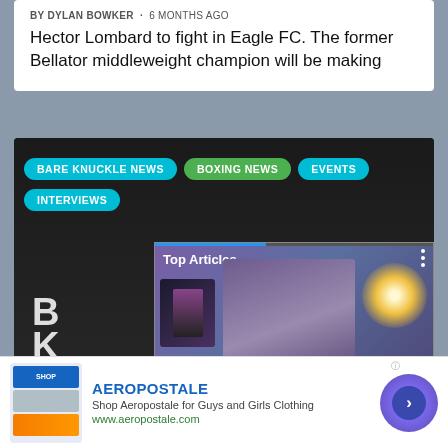BY DYLAN BOWKER · 6 MONTHS AGO
Hector Lombard to fight in Eagle FC. The former Bellator middleweight champion will be making
[Figure (screenshot): Website screenshot showing navigation tags: BARE KNUCKLE NEWS (cyan), BOXING NEWS (green), EVENTS (cyan), INTERVIEWS (cyan), overlaid on a dark video player area with a logo. A video overlay popup shows 'Top Articles', a person with headphones, a glowing gold circle, video controls (pause, mute), arrow button, and text 'Brandon Lewis talks upcomin...']
[Figure (screenshot): Advertisement banner for Aeropostale: logo image on left, 'AEROPOSTALE' brand name in blue, 'Shop Aeropostale for Guys and Girls Clothing', 'www.aeropostale.com' in green, navigation circle with arrow on right]